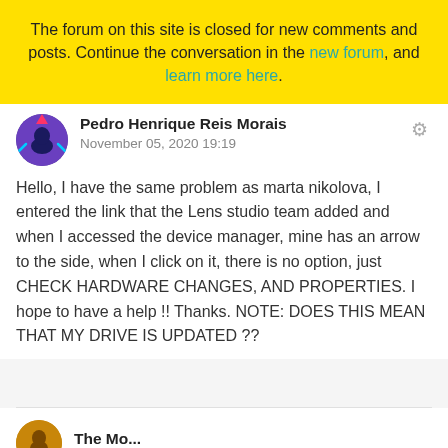The forum on this site is closed for new comments and posts. Continue the conversation in the new forum, and learn more here.
Pedro Henrique Reis Morais
November 05, 2020 19:19
Hello, I have the same problem as marta nikolova, I entered the link that the Lens studio team added and when I accessed the device manager, mine has an arrow to the side, when I click on it, there is no option, just CHECK HARDWARE CHANGES, AND PROPERTIES. I hope to have a help !! Thanks. NOTE: DOES THIS MEAN THAT MY DRIVE IS UPDATED ??
The Mo...